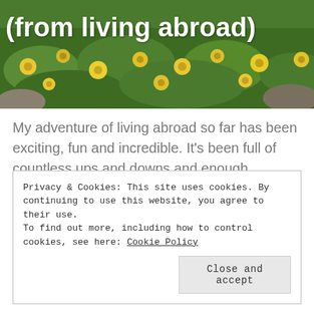[Figure (photo): Background photo of yellow wildflowers and green foliage with white bold title text overlaid reading '(from living abroad)']
(from living abroad)
My adventure of living abroad so far has been exciting, fun and incredible. It's been full of countless ups and downs and enough memories to last a lifetime. But along the way I've gotten the opportunity to learn more about myself and so much more about the world that I live in (after all that … Continue reading
Privacy & Cookies: This site uses cookies. By continuing to use this website, you agree to their use.
To find out more, including how to control cookies, see here: Cookie Policy
Close and accept